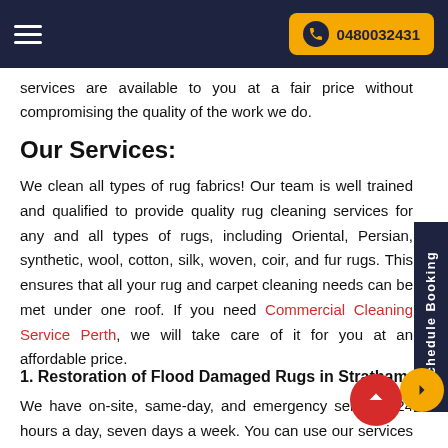0480032431
services are available to you at a fair price without compromising the quality of the work we do.
Our Services:
We clean all types of rug fabrics! Our team is well trained and qualified to provide quality rug cleaning services for any and all types of rugs, including Oriental, Persian, synthetic, wool, cotton, silk, woven, coir, and fur rugs. This ensures that all your rug and carpet cleaning needs can be met under one roof. If you need Commercial Cleaning Service Perth, we will take care of it for you at an affordable price.
1. Restoration of Flood Damaged Rugs in Stratham
We have on-site, same-day, and emergency services 24 hours a day, seven days a week. You can use our services whenever it is convenient for you by simply calling us. The services are the